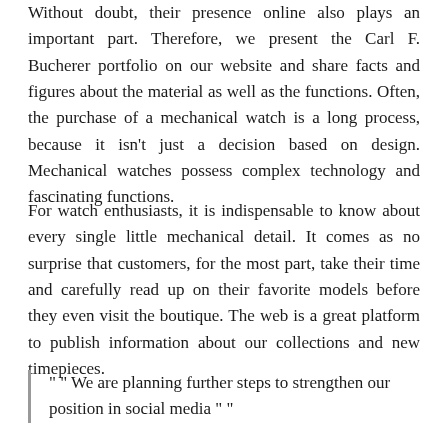Without doubt, their presence online also plays an important part. Therefore, we present the Carl F. Bucherer portfolio on our website and share facts and figures about the material as well as the functions. Often, the purchase of a mechanical watch is a long process, because it isn't just a decision based on design. Mechanical watches possess complex technology and fascinating functions.
For watch enthusiasts, it is indispensable to know about every single little mechanical detail. It comes as no surprise that customers, for the most part, take their time and carefully read up on their favorite models before they even visit the boutique. The web is a great platform to publish information about our collections and new timepieces.
" " We are planning further steps to strengthen our position in social media " "